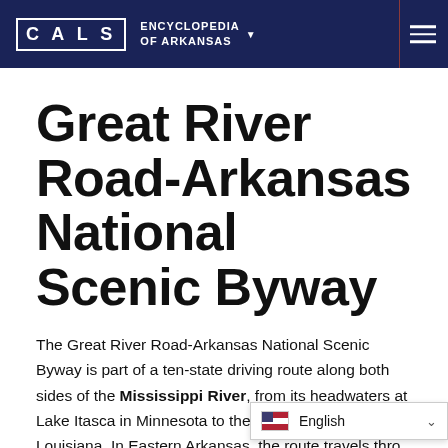CALS ENCYCLOPEDIA OF ARKANSAS
Great River Road-Arkansas National Scenic Byway
The Great River Road-Arkansas National Scenic Byway is part of a ten-state driving route along both sides of the Mississippi River, from its headwaters at Lake Itasca in Minnesota to the Gulf of Mexico in Louisiana. In Eastern Arkansas, the route travels thro...